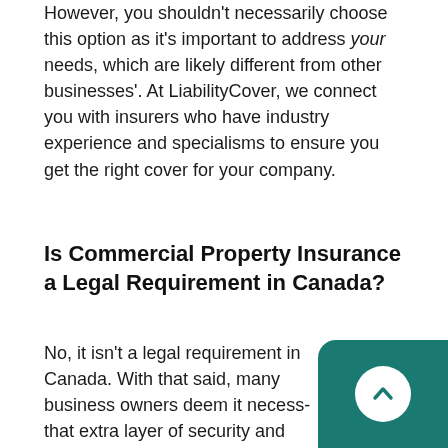However, you shouldn't necessarily choose this option as it's important to address your needs, which are likely different from other businesses'. At LiabilityCover, we connect you with insurers who have industry experience and specialisms to ensure you get the right cover for your company.
Is Commercial Property Insurance a Legal Requirement in Canada?
No, it isn't a legal requirement in Canada. With that said, many business owners deem it necessary for that extra layer of security and peace.
[Figure (other): Teal scroll-to-top button with white chevron arrow in bottom-right corner]